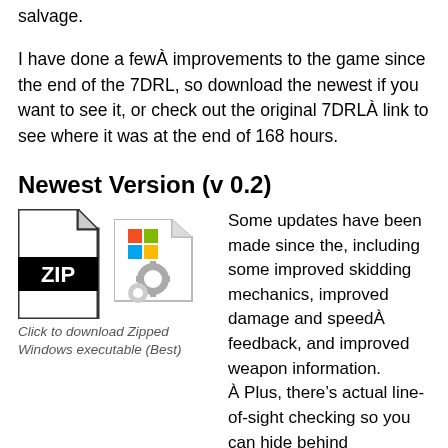salvage.
I have done a fewÂ improvements to the game since the end of the 7DRL, so download the newest if you want to see it, or check out the original 7DRLÂ link to see where it was at the end of 168 hours.
Newest Version (v 0.2)
[Figure (illustration): ZIP file icon and Windows executable icon side by side]
Click to download Zipped Windows executable (Best)
Some updates have been made since the, including some improved skidding mechanics, improved damage and speedÂ feedback, and improved weapon information. Â Plus, there’s actual line-of-sight checking so you can hide behind things. Â The world generation has also been adjusted,Â and the difficulty was somewhat increased from the admittedly easy version I put out for 7DRL.